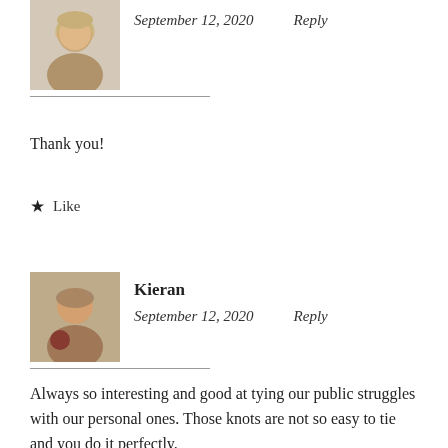[Figure (photo): Avatar photo of a woman with short blond hair, cropped square thumbnail.]
September 12, 2020   Reply
Thank you!
★ Like
[Figure (photo): Avatar photo of a person named Kieran holding a glass of red wine.]
Kieran
September 12, 2020   Reply
Always so interesting and good at tying our public struggles with our personal ones. Those knots are not so easy to tie and you do it perfectly.